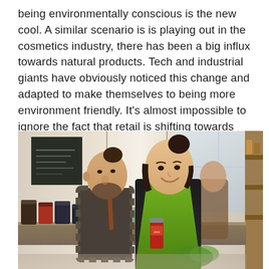being environmentally conscious is the new cool. A similar scenario is is playing out in the cosmetics industry, there has been a big influx towards natural products. Tech and industrial giants have obviously noticed this change and adapted to make themselves to being more environment friendly. It's almost impossible to ignore the fact that retail is shifting towards sustainability.
[Figure (photo): Two store workers behind a counter stocked with jars of natural products. A young woman in a green apron smiles at the camera while a young man with a beard and bun hairstyle looks down. A third person is visible in the background. The setting appears to be a sustainable/natural goods retail store.]